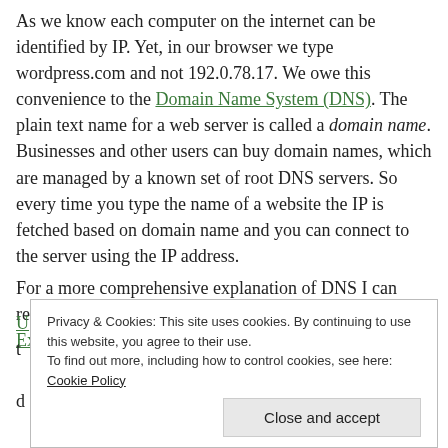As we know each computer on the internet can be identified by IP. Yet, in our browser we type wordpress.com and not 192.0.78.17. We owe this convenience to the Domain Name System (DNS). The plain text name for a web server is called a domain name. Businesses and other users can buy domain names, which are managed by a known set of root DNS servers. So every time you type the name of a website the IP is fetched based on domain name and you can connect to the server using the IP address.
For a more comprehensive explanation of DNS I can recommend the following article: Domain Name System Explained.
Privacy & Cookies: This site uses cookies. By continuing to use this website, you agree to their use. To find out more, including how to control cookies, see here: Cookie Policy
Close and accept